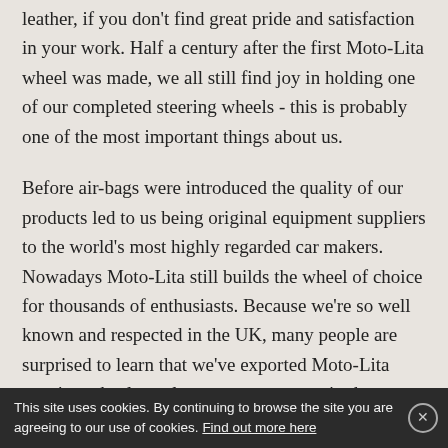leather, if you don't find great pride and satisfaction in your work. Half a century after the first Moto-Lita wheel was made, we all still find joy in holding one of our completed steering wheels - this is probably one of the most important things about us.
Before air-bags were introduced the quality of our products led to us being original equipment suppliers to the world's most highly regarded car makers. Nowadays Moto-Lita still builds the wheel of choice for thousands of enthusiasts. Because we're so well known and respected in the UK, many people are surprised to learn that we've exported Moto-Lita steering wheels to almost every country in the developed world since the '60s. Yet, despite our great success and massive market, we remain loyal to quality
This site uses cookies. By continuing to browse the site you are agreeing to our use of cookies. Find out more here